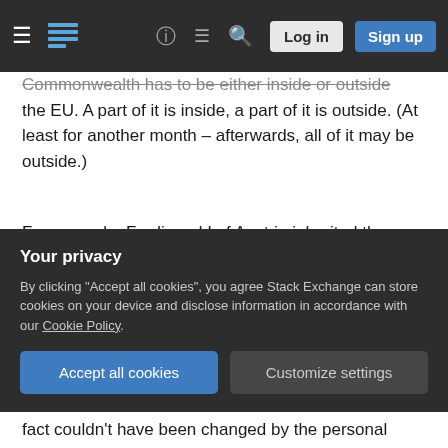Stack Exchange navigation bar with hamburger menu, logo, help, chat, search icons, Log in and Sign up buttons
Commonwealth has to be either inside or outside the EU. A part of it is inside, a part of it is outside. (At least for another month – afterwards, all of it may be outside.)
For example, Ferdinand I of Austria inherited the Kingdom of Bohemia and also Croatia and Hungary in 1526. The latter hadn't belonged to the Holy Roman Empire but it was simply unified with Austria inside the Holy Roman Empire because of the shared king and this personal unification continued for centuries because the House of Habsburg, i.e.
Your privacy
By clicking "Accept all cookies", you agree Stack Exchange can store cookies on your device and disclose information in accordance with our Cookie Policy.
fact couldn't have been changed by the personal